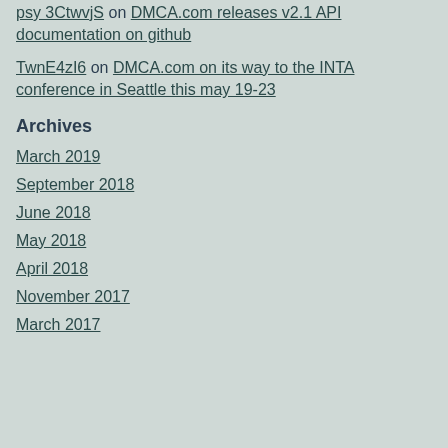psy 3CtwvjS on DMCA.com releases v2.1 API documentation on github
TwnE4zI6 on DMCA.com on its way to the INTA conference in Seattle this may 19-23
Archives
March 2019
September 2018
June 2018
May 2018
April 2018
November 2017
March 2017